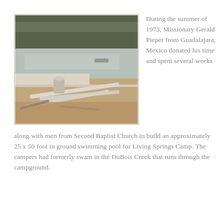[Figure (photo): Outdoor construction photo showing a pool being built, with pipes/lumber on the ground, a concrete structure visible, open water area, and trees in the background. Vintage/faded photo from 1973.]
During the summer of 1973, Missionary Gerald Pieper from Guadalajara, Mexico donated his time and spent several weeks along with men from Second Baptist Church to build an approximately 25 x 50 foot in ground swimming pool for Living Springs Camp. The campers had formerly swam in the DuBois Creek that runs through the campground.